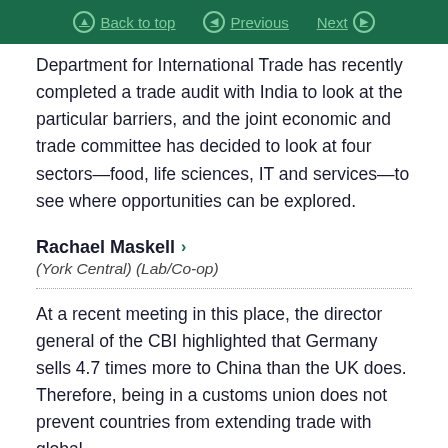Back to top  Previous  Next
Department for International Trade has recently completed a trade audit with India to look at the particular barriers, and the joint economic and trade committee has decided to look at four sectors—food, life sciences, IT and services—to see where opportunities can be explored.
Rachael Maskell
(York Central) (Lab/Co-op)
At a recent meeting in this place, the director general of the CBI highlighted that Germany sells 4.7 times more to China than the UK does. Therefore, being in a customs union does not prevent countries from extending trade with global